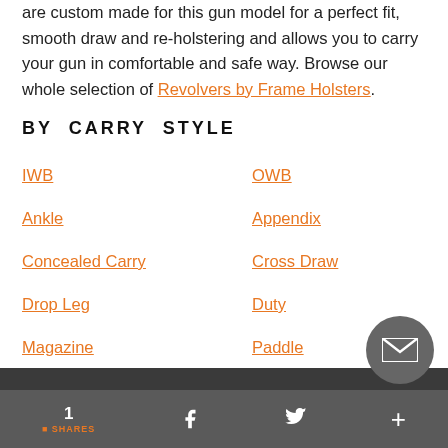are custom made for this gun model for a perfect fit, smooth draw and re-holstering and allows you to carry your gun in comfortable and safe way. Browse our whole selection of Revolvers by Frame Holsters.
BY CARRY STYLE
IWB
OWB
Ankle
Appendix
Concealed Carry
Cross Draw
Drop Leg
Duty
Magazine
Paddle
Red Dot Sight
Shoulder
1 SHARES — Facebook — Twitter — +